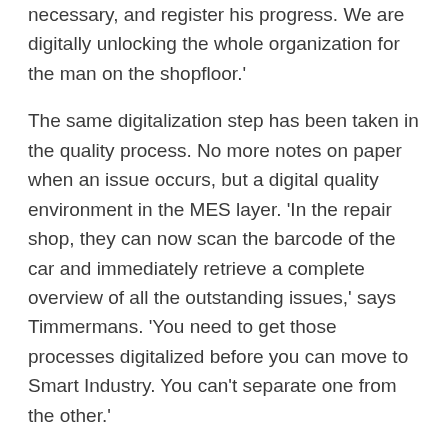necessary, and register his progress. We are digitally unlocking the whole organization for the man on the shopfloor.'
The same digitalization step has been taken in the quality process. No more notes on paper when an issue occurs, but a digital quality environment in the MES layer. 'In the repair shop, they can now scan the barcode of the car and immediately retrieve a complete overview of all the outstanding issues,' says Timmermans. 'You need to get those processes digitalized before you can move to Smart Industry. You can't separate one from the other.'
The push to Industry 4.0 is vital for VDL Nedcars competitiveness. 'We don't develop products, we develop processes,' Timmermans explains. 'Big car manufactures may have thirty production sites worldwide where they can deploy their applications